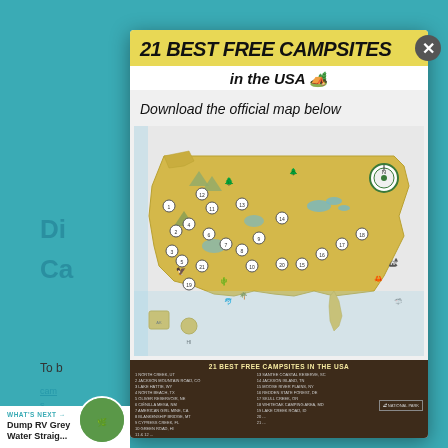21 BEST FREE CAMPSITES in the USA 🏕️
Download the official map below
[Figure (map): Illustrated map of the USA showing 21 best free campsite locations marked with numbered icons, with illustrated wildlife and landscape features across different US states. A compass rose is visible in the upper right area.]
21 BEST FREE CAMPSITES IN THE USA
WHAT'S NEXT → Dump RV Grey Water Straig...